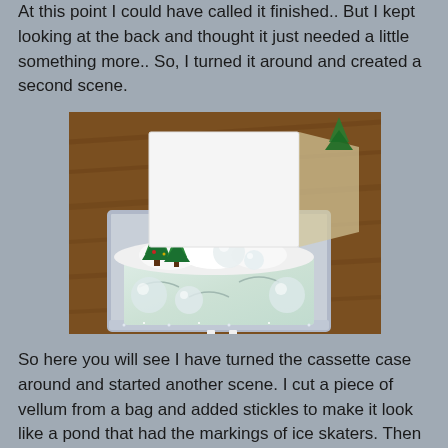At this point I could have called it finished.. But I kept looking at the back and thought it just needed a little something more.. So, I turned it around and created a second scene.
[Figure (photo): A cassette case turned into a winter scene diorama on a wooden table. The case contains mini Christmas trees, white fluffy snow, a glittery pond (vellum), and clear glass marble decorations. A white card stands upright at the back.]
So here you will see I have turned the cassette case around and started another scene.  I cut a piece of vellum from a bag and added stickles to make it look like a pond that had the markings of ice skaters.  Then you will see styrofoam for